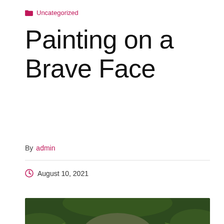🗂 Uncategorized
Painting on a Brave Face
By admin
August 10, 2021
[Figure (photo): A woman wearing a military helmet marked 'PFC/24' with red lipstick, surrounded by leafy green foliage. The photo is in color.]